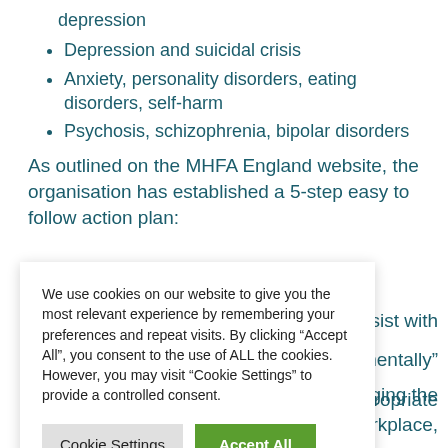depression
Depression and suicidal crisis
Anxiety, personality disorders, eating disorders, self-harm
Psychosis, schizophrenia, bipolar disorders
As outlined on the MHFA England website, the organisation has established a 5-step easy to follow action plan:
We use cookies on our website to give you the most relevant experience by remembering your preferences and repeat visits. By clicking “Accept All”, you consent to the use of ALL the cookies. However, you may visit “Cookie Settings” to provide a controlled consent.
d assist with
gementally”
ropriate
nging the
the workplace,